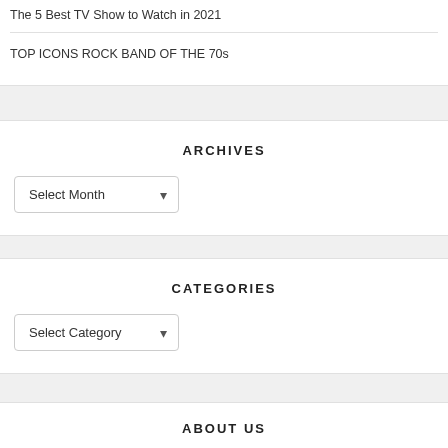The 5 Best TV Show to Watch in 2021
TOP ICONS ROCK BAND OF THE 70s
ARCHIVES
Select Month
CATEGORIES
Select Category
ABOUT US